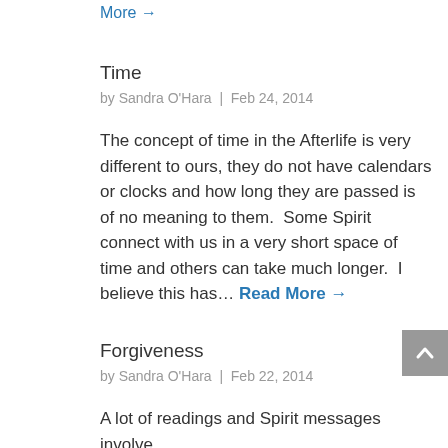More →
Time
by Sandra O'Hara | Feb 24, 2014
The concept of time in the Afterlife is very different to ours, they do not have calendars or clocks and how long they are passed is of no meaning to them.  Some Spirit connect with us in a very short space of time and others can take much longer.  I believe this has… Read More →
Forgiveness
by Sandra O'Hara | Feb 22, 2014
A lot of readings and Spirit messages involve